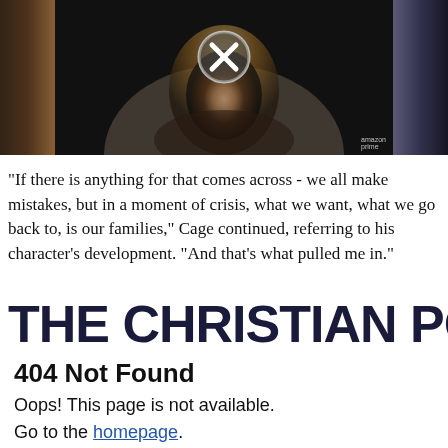[Figure (screenshot): Video thumbnail showing a woman with blonde hair in a dark setting, with an X/close button overlay in the center top area. Amazon Prime Video branding visible bottom right. Dark cinematic background with sepia tones on left and blue-gray tones on right.]
"If there is anything for that comes across - we all make mistakes, but in a moment of crisis, what we want, what we go back to, is our families," Cage continued, referring to his character's development. "And that's what pulled me in."
THE CHRISTIAN PO...
404 Not Found
Oops! This page is not available.
Go to the homepage.
THE CHRISTIAN...